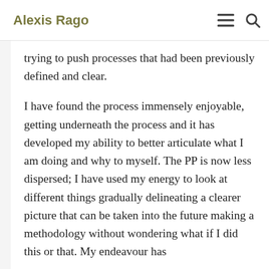Alexis Rago
familiar materials and methods. He asked if this had been a challenge, that is to say, trying to push processes that had been previously defined and clear.
I have found the process immensely enjoyable, getting underneath the process and it has developed my ability to better articulate what I am doing and why to myself. The PP is now less dispersed; I have used my energy to look at different things gradually delineating a clearer picture that can be taken into the future making a methodology without wondering what if I did this or that. My endeavour has